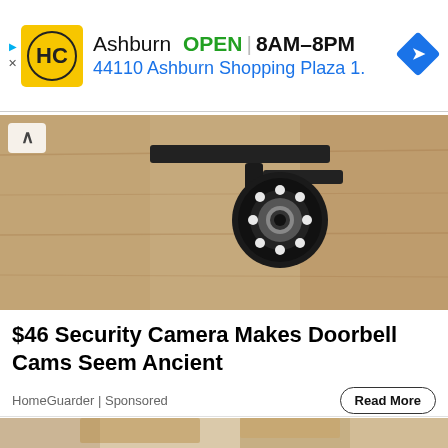[Figure (screenshot): Advertisement banner for Home Depot Ashburn location showing logo, OPEN status, hours 8AM-8PM, and address 44110 Ashburn Shopping Plaza 1.]
[Figure (photo): Close-up photo of a security camera mounted on a textured stone/stucco wall, showing a circular camera with LED ring lights and a dark metal mounting bracket.]
$46 Security Camera Makes Doorbell Cams Seem Ancient
HomeGuarder | Sponsored
[Figure (photo): Photo of a kitchen interior with wooden cabinetry, pendant lighting, recessed ceiling lights, and stainless steel appliances.]